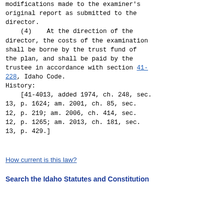modifications made to the examiner's original report as submitted to the director.
    (4)    At the direction of the director, the costs of the examination shall be borne by the trust fund of the plan, and shall be paid by the trustee in accordance with section 41-228, Idaho Code.
History:
    [41-4013, added 1974, ch. 248, sec. 13, p. 1624; am. 2001, ch. 85, sec. 12, p. 219; am. 2006, ch. 414, sec. 12, p. 1265; am. 2013, ch. 181, sec. 13, p. 429.]
How current is this law?
Search the Idaho Statutes and Constitution